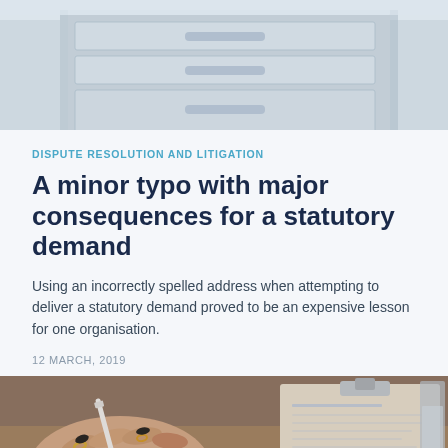[Figure (photo): Top photo showing filing cabinets with metal drawers, blurred background]
DISPUTE RESOLUTION AND LITIGATION
A minor typo with major consequences for a statutory demand
Using an incorrectly spelled address when attempting to deliver a statutory demand proved to be an expensive lesson for one organisation.
12 MARCH, 2019
[Figure (photo): Bottom photo showing a person holding a pen over documents on a clipboard, with rings on fingers]